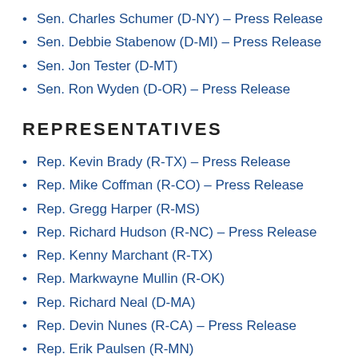Sen. Charles Schumer (D-NY) – Press Release
Sen. Debbie Stabenow (D-MI) – Press Release
Sen. Jon Tester (D-MT)
Sen. Ron Wyden (D-OR) – Press Release
REPRESENTATIVES
Rep. Kevin Brady (R-TX) – Press Release
Rep. Mike Coffman (R-CO) – Press Release
Rep. Gregg Harper (R-MS)
Rep. Richard Hudson (R-NC) – Press Release
Rep. Kenny Marchant (R-TX)
Rep. Markwayne Mullin (R-OK)
Rep. Richard Neal (D-MA)
Rep. Devin Nunes (R-CA) – Press Release
Rep. Erik Paulsen (R-MN)
Rep. Peter Roskam (R-IL) – Press Release